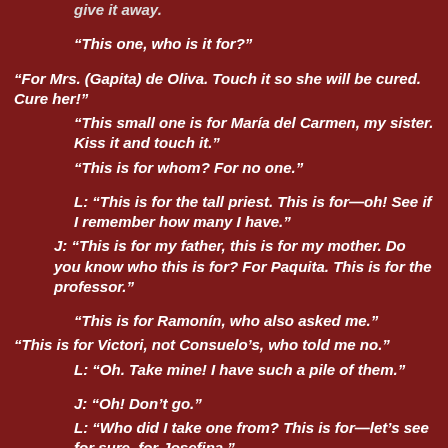give it away.
“This one, who is it for?”
“For Mrs. (Gapita) de Oliva. Touch it so she will be cured. Cure her!”
“This small one is for María del Carmen, my sister. Kiss it and touch it.”
“This is for whom? For no one.”
L: “This is for the tall priest. This is for—oh! See if I remember how many I have.”
J: “This is for my father, this is for my mother. Do you know who this is for? For Paquita. This is for the professor.”
“This is for Ramonín, who also asked me.”
“This is for Victori, not Consuelo’s, who told me no.”
L: “Oh. Take mine! I have such a pile of them.”
J: “Oh! Don’t go.”
L: “Who did I take one from? This is for—let’s see for sure, for Josefina.”